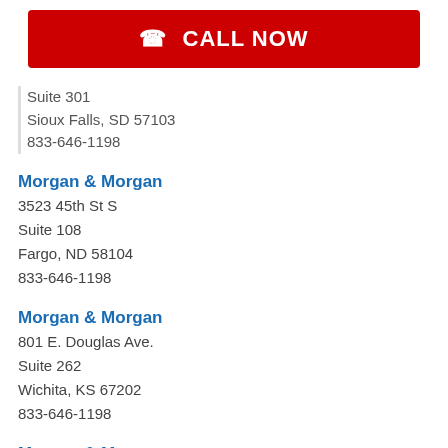[Figure (other): Red CALL NOW button with phone icon]
Suite 301
Sioux Falls, SD 57103
833-646-1198
Morgan & Morgan
3523 45th St S
Suite 108
Fargo, ND 58104
833-646-1198
Morgan & Morgan
801 E. Douglas Ave.
Suite 262
Wichita, KS 67202
833-646-1198
Morgan & Morgan
101 Park Avenue
Suite 1350
Oklahoma City, OK 73102
405-253-7550